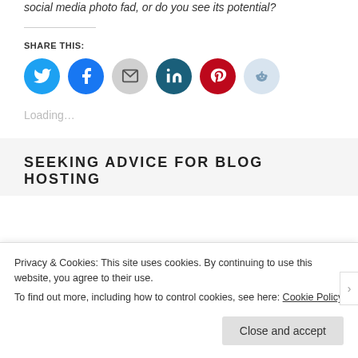social media photo fad, or do you see its potential?
SHARE THIS:
[Figure (infographic): Row of social share icon buttons: Twitter (blue), Facebook (blue), Email (gray), LinkedIn (dark teal), Pinterest (red), Reddit (light blue)]
Loading...
SEEKING ADVICE FOR BLOG HOSTING
Privacy & Cookies: This site uses cookies. By continuing to use this website, you agree to their use.
To find out more, including how to control cookies, see here: Cookie Policy
Close and accept